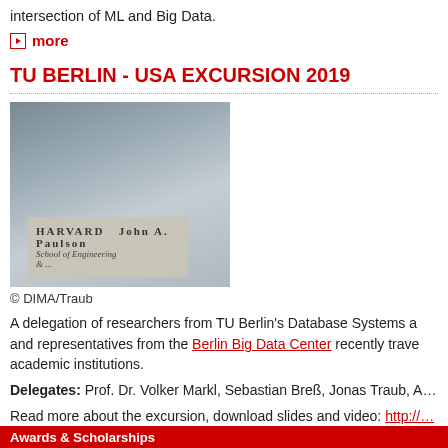intersection of ML and Big Data.
more
TU BERLIN - USA EXCURSION 2019
[Figure (photo): Group of researchers standing in front of Harvard John A. Paulson School of Engineering sign]
© DIMA/Traub
A delegation of researchers from TU Berlin's Database Systems and representatives from the Berlin Big Data Center recently traveled to academic institutions.
Delegates: Prof. Dr. Volker Markl, Sebastian Breß, Jonas Traub, A...
Read more about the excursion, download slides and video: http://...
Awards & Scholarships